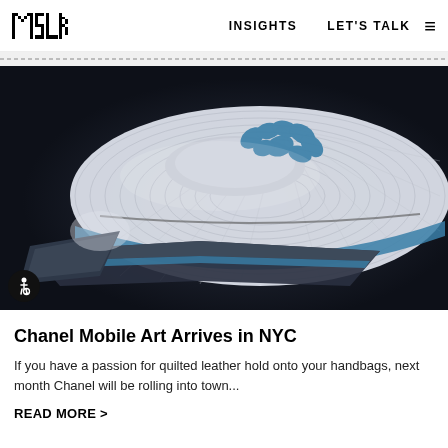MSLK   INSIGHTS   LET'S TALK
MORE LIKE THIS
[Figure (photo): A futuristic white and blue organic-shaped architectural structure or vehicle (Chanel Mobile Art pavilion), photographed from above on a dark background. The structure has curved ribbed surfaces and blue petal-like panels on top.]
Chanel Mobile Art Arrives in NYC
If you have a passion for quilted leather hold onto your handbags, next month Chanel will be rolling into town...
READ MORE >